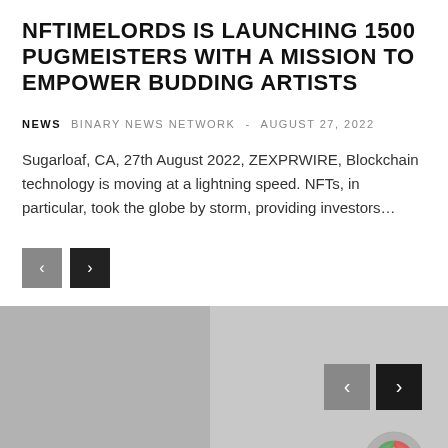NFTIMELORDS IS LAUNCHING 1500 PUGMEISTERS WITH A MISSION TO EMPOWER BUDDING ARTISTS
NEWS   BINARY NEWS NETWORK - AUGUST 27, 2022
Sugarloaf, CA, 27th August 2022, ZEXPRWIRE, Blockchain technology is moving at a lightning speed. NFTs, in particular, took the globe by storm, providing investors...
[Figure (screenshot): Navigation previous and next buttons (grey and black arrows)]
[Figure (screenshot): Google Chrome download page banner with Chrome logo watermark and navigation buttons. Title overlay reads: GOOGLE CHROME DOWNLOAD – FAST AND SECURE BROWSER]